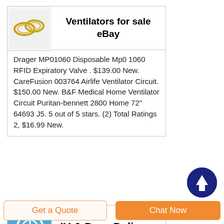[Figure (photo): Small thumbnail image showing ventilator-related tubing/connectors on white background with gold-colored rings]
Ventilators for sale eBay
Drager MP01060 Disposable Mp0 1060 RFID Expiratory Valve . $139.00 New. CareFusion 003764 Airlife Ventilator Circuit. $150.00 New. B&F Medical Home Ventilator Circuit Puritan-bennett 2800 Home 72" 64693 J5. 5 out of 5 stars. (2) Total Ratings 2, $16.99 New.
[Figure (photo): Blue background thumbnail with a circular ring/IV-related medical device image in white]
IV & Drug Delivery
[Figure (other): Dark navy circular scroll-to-top button with white upward arrow]
Get a Quote
Chat Now